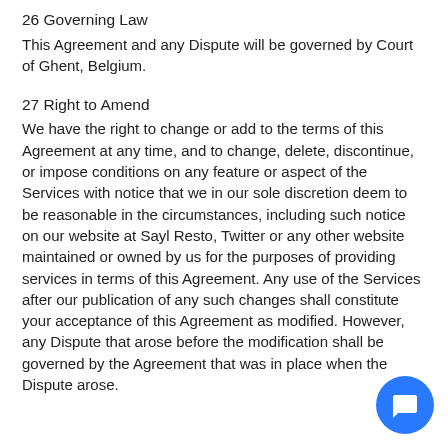26 Governing Law
This Agreement and any Dispute will be governed by Court of Ghent, Belgium.
27 Right to Amend
We have the right to change or add to the terms of this Agreement at any time, and to change, delete, discontinue, or impose conditions on any feature or aspect of the Services with notice that we in our sole discretion deem to be reasonable in the circumstances, including such notice on our website at Sayl Resto, Twitter or any other website maintained or owned by us for the purposes of providing services in terms of this Agreement. Any use of the Services after our publication of any such changes shall constitute your acceptance of this Agreement as modified. However, any Dispute that arose before the modification shall be governed by the Agreement that was in place when the Dispute arose.